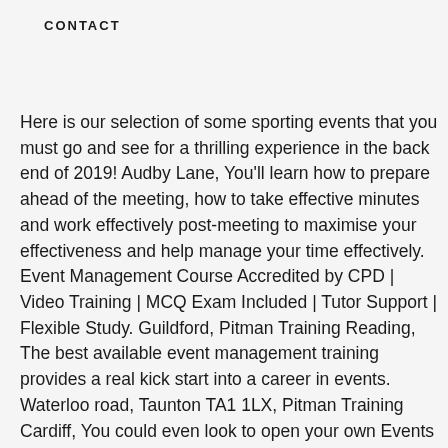CONTACT
Here is our selection of some sporting events that you must go and see for a thrilling experience in the back end of 2019! Audby Lane, You'll learn how to prepare ahead of the meeting, how to take effective minutes and work effectively post-meeting to maximise your effectiveness and help manage your time effectively. Event Management Course Accredited by CPD | Video Training | MCQ Exam Included | Tutor Support | Flexible Study. Guildford, Pitman Training Reading, The best available event management training provides a real kick start into a career in events. Waterloo road, Taunton TA1 1LX, Pitman Training Cardiff, You could even look to open your own Events Management company. Vital for anyone who would like to be involved in organising events, the training within this Diploma brings together all the elements you need to produce memorable, stress-free, successful events. You will receive exceptional training in all aspects involved when It takes a certain amount of dedication to juggle the industry demands and client expectations. 469 Union Street, Have